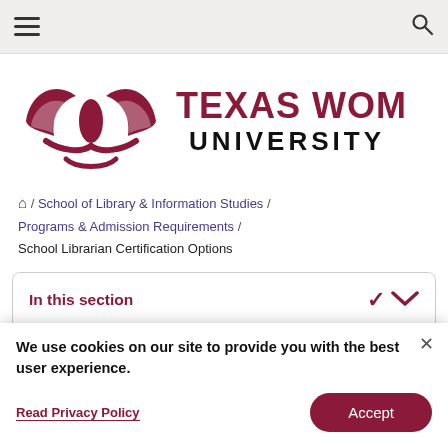[Figure (logo): Texas Woman's University logo with stylized TWU emblem in dark red and text 'TEXAS WOMAN'S UNIVERSITY']
🏠 / School of Library & Information Studies / Programs & Admission Requirements / School Librarian Certification Options
In this section
We use cookies on our site to provide you with the best user experience.
Read Privacy Policy
Accept